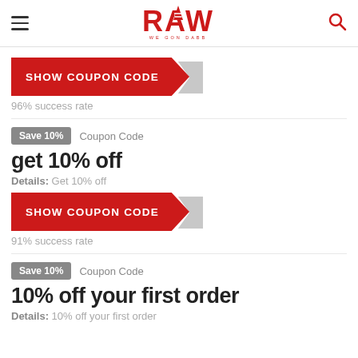RAW
[Figure (other): SHOW COUPON CODE red button with arrow chevron]
96% success rate
Save 10%   Coupon Code
get 10% off
Details: Get 10% off
[Figure (other): SHOW COUPON CODE red button with arrow chevron]
91% success rate
Save 10%   Coupon Code
10% off your first order
Details: 10% off your first order